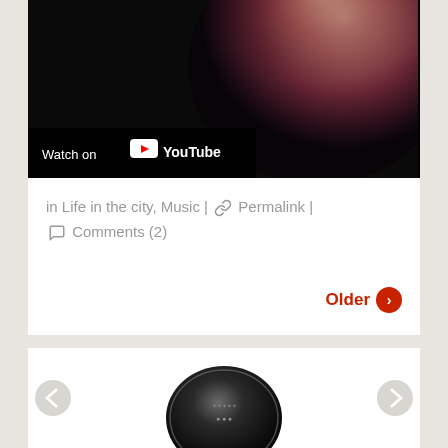[Figure (screenshot): YouTube video thumbnail showing a dark background with a blurred figure/orb with brownish-red tones and a 'Watch on YouTube' overlay bar at the bottom left]
in Life in the city, Music | 🔗 Permalink | 💬 Comments (2)
Older ➔
[Figure (photo): Bottom portion of page showing a dark circular coin or medallion image partially visible, with left and right navigation arrows on either side]